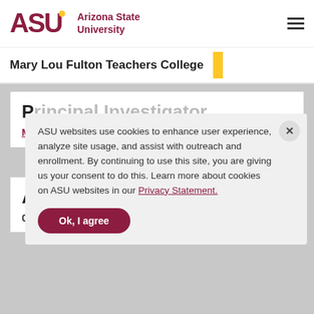ASU Arizona State University
Mary Lou Fulton Teachers College
Principal Investigator
Mari Koerner
ASU websites use cookies to enhance user experience, analyze site usage, and assist with outreach and enrollment. By continuing to use this site, you are giving us your consent to do this. Learn more about cookies on ASU websites in our Privacy Statement.
Award start date
01/01/2015